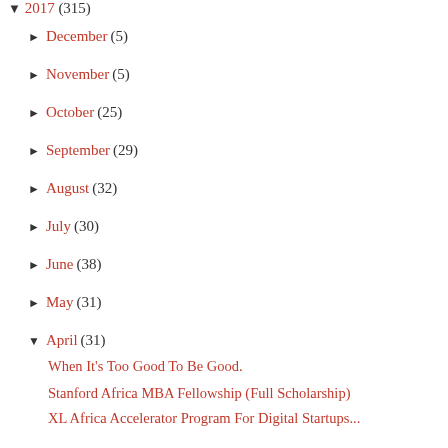▼ 2017 (315)
► December (5)
► November (5)
► October (25)
► September (29)
► August (32)
► July (30)
► June (38)
► May (31)
▼ April (31)
When It's Too Good To Be Good.
Stanford Africa MBA Fellowship (Full Scholarship)
XL Africa Accelerator Program For Digital Startups...
Finally Got My Company Tax Clearance Certificate. ...
Webinar Slides And Recording: The New Features In ...
Today: Webinar On The New Features In Microsoft Excel